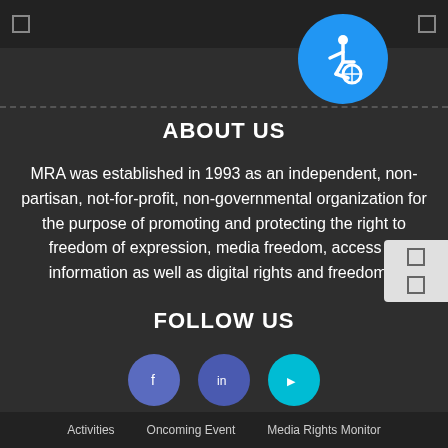[Figure (logo): Blue accessibility icon circle with wheelchair symbol in white]
ABOUT US
MRA was established in 1993 as an independent, non-partisan, not-for-profit, non-governmental organization for the purpose of promoting and protecting the right to freedom of expression, media freedom, access to information as well as digital rights and freedoms.
FOLLOW US
[Figure (infographic): Three social media icon buttons: Facebook (blue-purple), Twitter (blue-purple), YouTube/other (cyan)]
Activities   Oncoming Event   Media Rights Monitor